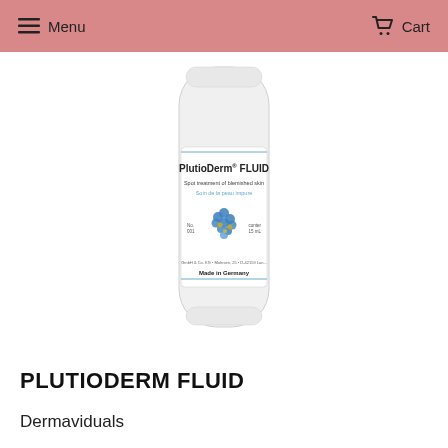Menu  Cart
[Figure (photo): A white cylindrical stick/tube product with label reading 'PlutioDerm® Fluid - Spot treatment of blemished skin / Soin de la peau impure' with a blue molecular/bead illustration, contents 15mL, Made in Germany]
PLUTIODERM FLUID
Dermaviduals